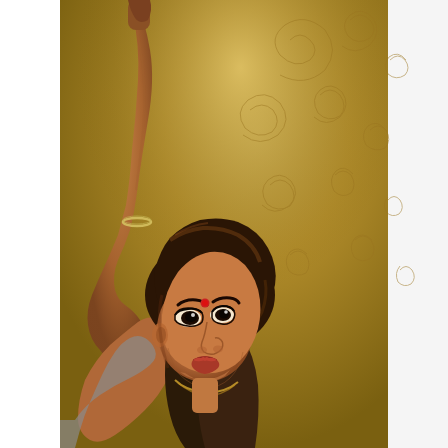[Figure (photo): A woman of South Asian appearance with long dark brown hair, wearing a bindi on her forehead and a thin gold necklace, looking upward at the camera. Her right arm is raised above her head with a silver bracelet on her wrist, gripping something off-frame. The background is a golden-bronze fabric with spiral/swirl embossed patterns. The image has a warm, golden-toned studio photograph quality.]